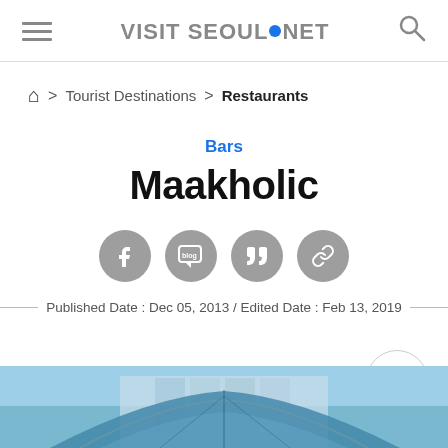VISIT SEOUL.NET
Home > Tourist Destinations > Restaurants
Bars
Maakholic
[Figure (infographic): Social share icons: Facebook, Blog, Quote, Link]
Published Date : Dec 05, 2013 / Edited Date : Feb 13, 2019
[Figure (photo): Photo of a building entrance with a curved glass canopy/awning]